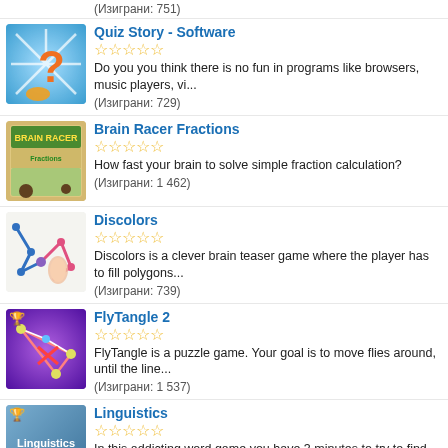(Изиграни: 751)
Quiz Story - Software
☆☆☆☆☆
Do you you think there is no fun in programs like browsers, music players, vi...
(Изиграни: 729)
Brain Racer Fractions
☆☆☆☆☆
How fast your brain to solve simple fraction calculation?
(Изиграни: 1 462)
Discolors
☆☆☆☆☆
Discolors is a clever brain teaser game where the player has to fill polygons...
(Изиграни: 739)
FlyTangle 2
☆☆☆☆☆
FlyTangle is a puzzle game. Your goal is to move flies around, until the line...
(Изиграни: 1 537)
Linguistics
☆☆☆☆☆
In this addicting word game you have 3 minutes to try to find as many 5 lette...
(Изиграни: 899)
(partial item at bottom)